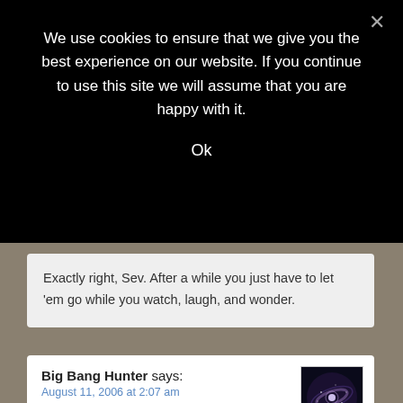We use cookies to ensure that we give you the best experience on our website. If you continue to use this site we will assume that you are happy with it.
Ok
Exactly right, Sev. After a while you just have to let ‘em go while you watch, laugh, and wonder.
Big Bang Hunter says:
August 11, 2006 at 2:07 am
[Figure (photo): Avatar image of a spiral galaxy]
– Their fearless Kossack leader, Herr Kos, has given them their marching orders. No sane human being “likes”, “wants”, or “enjoys” war, so the game plan is to conflate that with “turn tail and run”, every poll question is in the